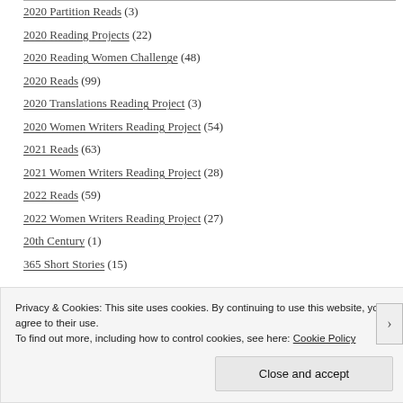2020 Partition Reads (3)
2020 Reading Projects (22)
2020 Reading Women Challenge (48)
2020 Reads (99)
2020 Translations Reading Project (3)
2020 Women Writers Reading Project (54)
2021 Reads (63)
2021 Women Writers Reading Project (28)
2022 Reads (59)
2022 Women Writers Reading Project (27)
20th Century (1)
365 Short Stories (15)
Privacy & Cookies: This site uses cookies. By continuing to use this website, you agree to their use. To find out more, including how to control cookies, see here: Cookie Policy